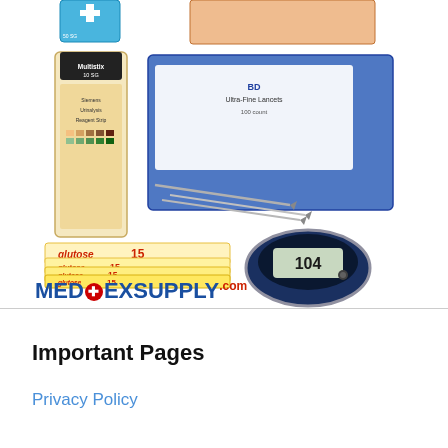[Figure (photo): Medical supply products composite image showing urinalysis test strips (Multistix 10 SG), lancet boxes, Glutose 15 glucose gel packets, a blood glucose meter reading 104, and the MedExSupply.com logo]
Important Pages
Privacy Policy